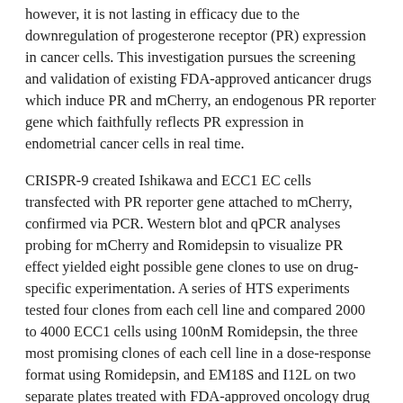however, it is not lasting in efficacy due to the downregulation of progesterone receptor (PR) expression in cancer cells. This investigation pursues the screening and validation of existing FDA-approved anticancer drugs which induce PR and mCherry, an endogenous PR reporter gene which faithfully reflects PR expression in endometrial cancer cells in real time.
CRISPR-9 created Ishikawa and ECC1 EC cells transfected with PR reporter gene attached to mCherry, confirmed via PCR. Western blot and qPCR analyses probing for mCherry and Romidepsin to visualize PR effect yielded eight possible gene clones to use on drug-specific experimentation. A series of HTS experiments tested four clones from each cell line and compared 2000 to 4000 ECC1 cells using 100nM Romidepsin, the three most promising clones of each cell line in a dose-response format using Romidepsin, and EM18S and I12L on two separate plates treated with FDA-approved oncology drug plates to identify PR-inducing drugs. A proliferation assay of discovered drugs—Ixazomib,